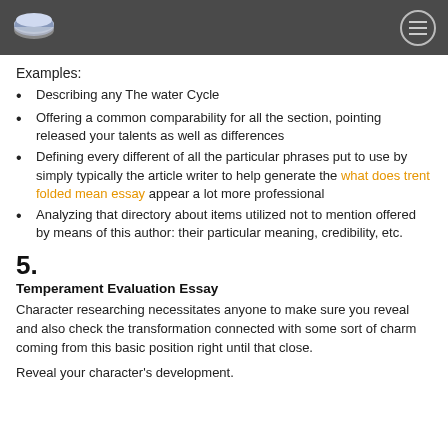[logo] [hamburger menu]
Examples:
Describing any The water Cycle
Offering a common comparability for all the section, pointing released your talents as well as differences
Defining every different of all the particular phrases put to use by simply typically the article writer to help generate the what does trent folded mean essay appear a lot more professional
Analyzing that directory about items utilized not to mention offered by means of this author: their particular meaning, credibility, etc.
5.
Temperament Evaluation Essay
Character researching necessitates anyone to make sure you reveal and also check the transformation connected with some sort of charm coming from this basic position right until that close.
Reveal your character's development.